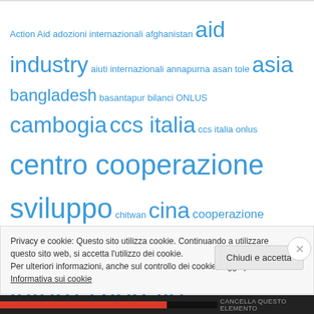Action Aid adozioni internazionali afghanistan aid industry aiuti internazionali annapurna asan tole asia bangladesh basantapur bilanci ONLUS cambogia ccs italia ccs italia onlus centro cooperazione sviluppo chitwan cina cooperazione cooperazione internazionale dalai lama dalit dashain economia educazione everest fernanda contri fundraising gyanendra haiti himalaya hun sen india industria dell'assistenza ingo italia kathmandu kavre kumari madhesi maoisti maoisti
Privacy e cookie: Questo sito utilizza cookie. Continuando a utilizzare questo sito web, si accetta l'utilizzo dei cookie. Per ulteriori informazioni, anche sul controllo dei cookie, leggi qui: Informativa sui cookie